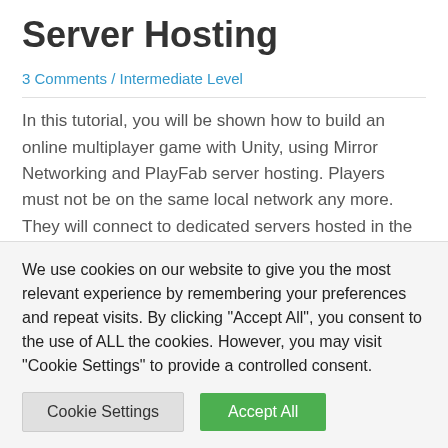Server Hosting
3 Comments / Intermediate Level
In this tutorial, you will be shown how to build an online multiplayer game with Unity, using Mirror Networking and PlayFab server hosting. Players must not be on the same local network any more. They will connect to dedicated servers hosted in the cloud, which allows them to play together even though they are a …
Read More »
We use cookies on our website to give you the most relevant experience by remembering your preferences and repeat visits. By clicking "Accept All", you consent to the use of ALL the cookies. However, you may visit "Cookie Settings" to provide a controlled consent.